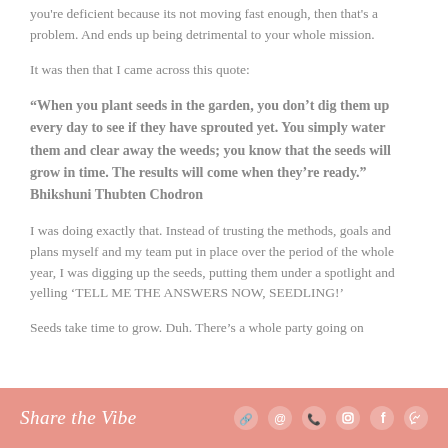you're deficient because its not moving fast enough, then that's a problem. And ends up being detrimental to your whole mission.
It was then that I came across this quote:
“When you plant seeds in the garden, you don’t dig them up every day to see if they have sprouted yet. You simply water them and clear away the weeds; you know that the seeds will grow in time. The results will come when they’re ready.” Bhikshuni Thubten Chodron
I was doing exactly that. Instead of trusting the methods, goals and plans myself and my team put in place over the period of the whole year, I was digging up the seeds, putting them under a spotlight and yelling ‘TELL ME THE ANSWERS NOW, SEEDLING!’
Seeds take time to grow. Duh. There’s a whole party going on
Share the Vibe